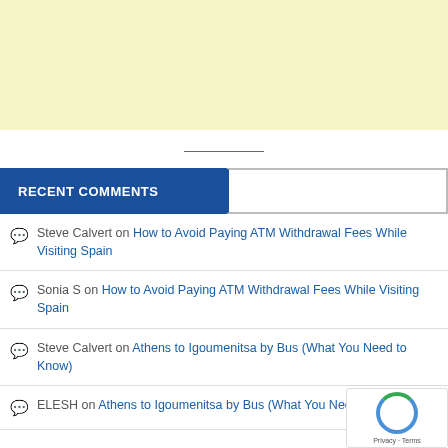[Figure (other): Advertisement banner with light yellow background]
RECENT COMMENTS
Steve Calvert on How to Avoid Paying ATM Withdrawal Fees While Visiting Spain
Sonia S on How to Avoid Paying ATM Withdrawal Fees While Visiting Spain
Steve Calvert on Athens to Igoumenitsa by Bus (What You Need to Know)
ELESH on Athens to Igoumenitsa by Bus (What You Need to Know)